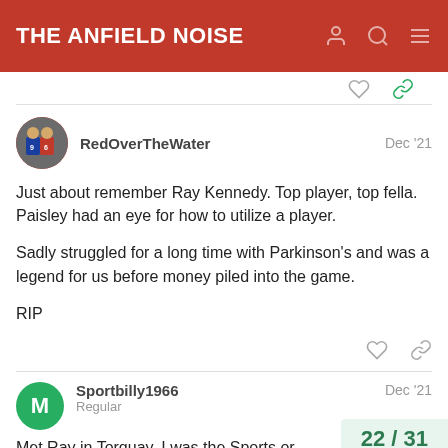THE ANFIELD NOISE
RedOverTheWater   Dec '21

Just about remember Ray Kennedy. Top player, top fella. Paisley had an eye for how to utilize a player.

Sadly struggled for a long time with Parkinson's and was a legend for us before money piled into the game.

RIP
Sportbilly1966   Regular   Dec '21

Met Ray in Torquay. I was the Sports or...
22 / 31